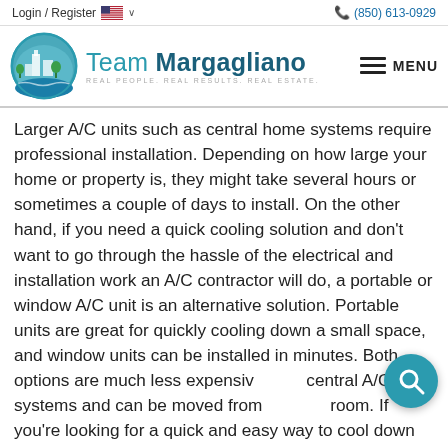Login / Register  🇺🇸 ∨    (850) 613-0929
[Figure (logo): Team Margagliano real estate logo with teal circle containing building and landscape illustration. Text reads 'Team Margagliano' with tagline 'REAL PEOPLE. REAL RESULTS. REAL ESTATE.' and a hamburger menu icon with 'MENU' label on the right.]
Larger A/C units such as central home systems require professional installation. Depending on how large your home or property is, they might take several hours or sometimes a couple of days to install. On the other hand, if you need a quick cooling solution and don't want to go through the hassle of the electrical and installation work an A/C contractor will do, a portable or window A/C unit is an alternative solution. Portable units are great for quickly cooling down a small space, and window units can be installed in minutes. Both options are much less expensive than central A/C systems and can be moved from room to room. If you're looking for a quick and easy way to cool down your home this summer, a portable or window air